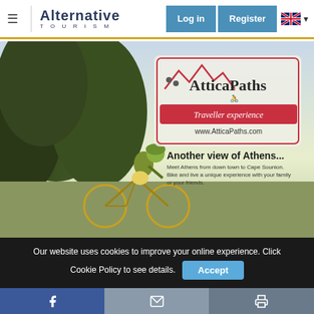Alternative Tourism — Navigation bar with Log in, Register, and language selector
[Figure (screenshot): Hero image showing a cyclist riding a mountain bike with trees in background and sky. Overlay shows AtticaPaths logo with mountains graphic, tagline 'Traveller experience', website www.AtticaPaths.com, heading 'Another view of Athens...', and body text 'Meet Athens from down town to Cape Sounion. Bike and live a unique experience with your family or your friends.']
Our website uses cookies to improve your online experience. Click Cookie Policy to see details.
[Figure (infographic): Footer bar with three icon buttons: Facebook (blue), email/envelope (grey), and print (dark grey)]